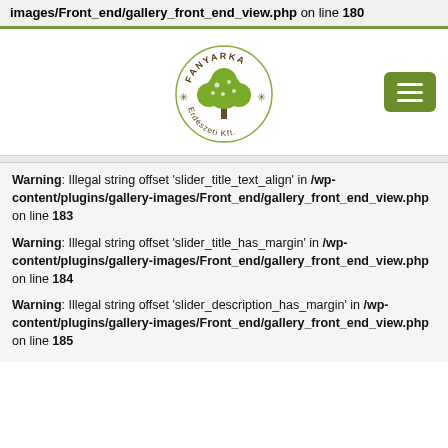images/Front_end/gallery_front_end_view.php on line 180
[Figure (logo): Fanyarka Erdészeti Kft. circular tree logo]
Warning: Illegal string offset 'slider_title_text_align' in /wp-content/plugins/gallery-images/Front_end/gallery_front_end_view.PHP on line 183
Warning: Illegal string offset 'slider_title_has_margin' in /wp-content/plugins/gallery-images/Front_end/gallery_front_end_view.PHP on line 184
Warning: Illegal string offset 'slider_description_has_margin' in /wp-content/plugins/gallery-images/Front_end/gallery_front_end_view.PHP on line 185